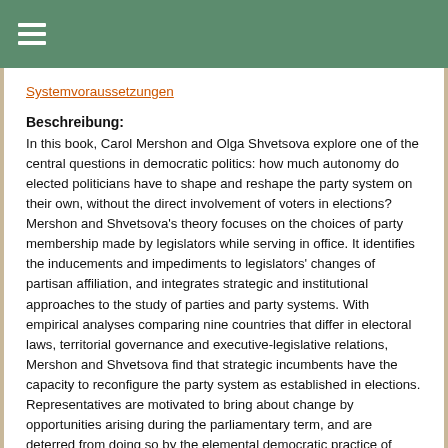≡ (navigation menu icon)
Systemvoraussetzungen
Beschreibung:
In this book, Carol Mershon and Olga Shvetsova explore one of the central questions in democratic politics: how much autonomy do elected politicians have to shape and reshape the party system on their own, without the direct involvement of voters in elections? Mershon and Shvetsova's theory focuses on the choices of party membership made by legislators while serving in office. It identifies the inducements and impediments to legislators' changes of partisan affiliation, and integrates strategic and institutional approaches to the study of parties and party systems. With empirical analyses comparing nine countries that differ in electoral laws, territorial governance and executive-legislative relations, Mershon and Shvetsova find that strategic incumbents have the capacity to reconfigure the party system as established in elections. Representatives are motivated to bring about change by opportunities arising during the parliamentary term, and are deterred from doing so by the elemental democratic practice of elections. In this book, Carol Mershon and Olga Shvetsova explore one of the central questions in democratic politics: how much autonomy do elected politicians have to shape and reshape the party system on their own,